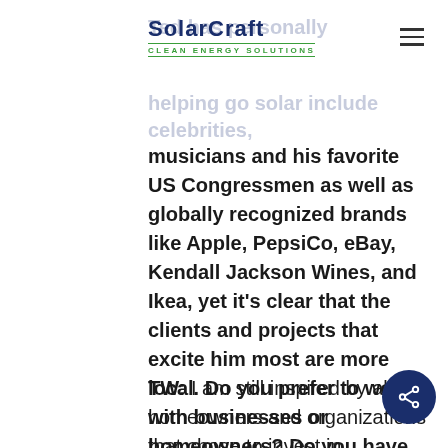SolarCraft — CLEAN ENERGY SOLUTIONS
Ted has personally helping go solar include celebrities, musicians and his favorite US Congressmen as well as globally recognized brands like Apple, PepsiCo, eBay, Kendall Jackson Wines, and Ikea, yet it's clear that the clients and projects that excite him most are more local. Do you prefer to work with businesses or homeowners? Do you have any favorite solar clients?
TW: I am still inspired by all homeowners and organizations that chose to invest in renewable energy, and grateful to be